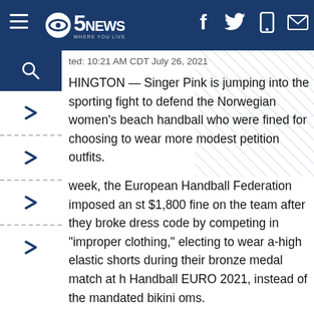5NEWS WHERE YOU LIVE
ted: 10:21 AM CDT July 26, 2021
HINGTON — Singer Pink is jumping into the sporting fight to defend the Norwegian women's beach handball who were fined for choosing to wear more modest petition outfits.
week, the European Handball Federation imposed an st $1,800 fine on the team after they broke dress code by competing in "improper clothing," electing to wear a-high elastic shorts during their bronze medal match at h Handball EURO 2021, instead of the mandated bikini oms.
n members were ordered to pay 150 Euros each, which